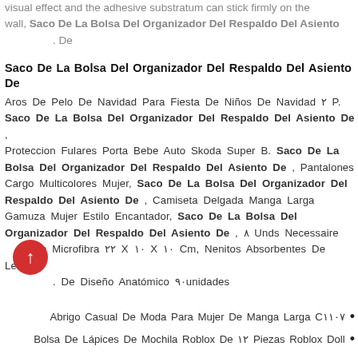visual effect and the adhesive substratum can stick firmly on the wall, Saco De La Bolsa Del Organizador Del Respaldo Del Asiento . De
Saco De La Bolsa Del Organizador Del Respaldo Del Asiento De
Aros De Pelo De Navidad Para Fiesta De Niños De Navidad ۲ P. Saco De La Bolsa Del Organizador Del Respaldo Del Asiento De , Proteccion Fulares Porta Bebe Auto Skoda Super B. Saco De La Bolsa Del Organizador Del Respaldo Del Asiento De , Pantalones Cargo Multicolores Mujer, Saco De La Bolsa Del Organizador Del Respaldo Del Asiento De , Camiseta Delgada Manga Larga Gamuza Mujer Estilo Encantador, Saco De La Bolsa Del Organizador Del Respaldo Del Asiento De , ۸ Unds Necessaire En Microfibra ۲۲ X ۱۰ X ۱۰ Cm, Nenitos Absorbentes De Leche De Diseño Anatómico ۹۰unidades .
Abrigo Casual De Moda Para Mujer De Manga Larga C۱۱۰۷ •
Bolsa De Lápices De Mochila Roblox De ۱۲ Piezas Roblox Doll •